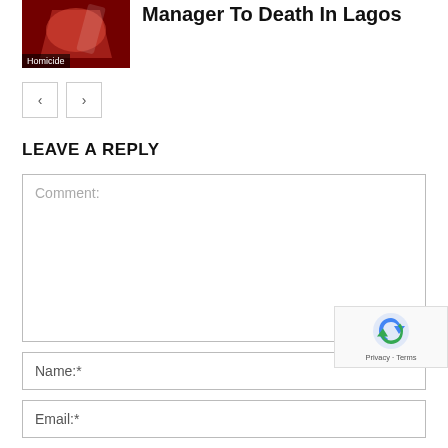[Figure (photo): Thumbnail image with red/dark tones and a 'Homicide' label overlay, accompanying a news article title]
Manager To Death In Lagos
[Figure (other): Navigation buttons: left arrow and right arrow]
LEAVE A REPLY
Comment:
Name:*
Email:*
[Figure (other): reCAPTCHA widget overlay showing shield/refresh icon and Privacy - Terms text]